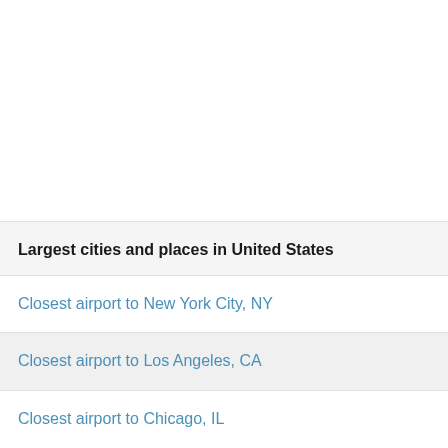Largest cities and places in United States
Closest airport to New York City, NY
Closest airport to Los Angeles, CA
Closest airport to Chicago, IL